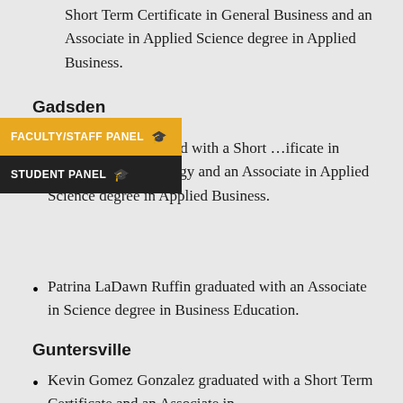Short Term Certificate in General Business and an Associate in Applied Science degree in Applied Business.
Gadsden
…hes Loftis graduated with a Short …ificate in Accounting Technology and an Associate in Applied Science degree in Applied Business.
Patrina LaDawn Ruffin graduated with an Associate in Science degree in Business Education.
Guntersville
Kevin Gomez Gonzalez graduated with a Short Term Certificate and an Associate in